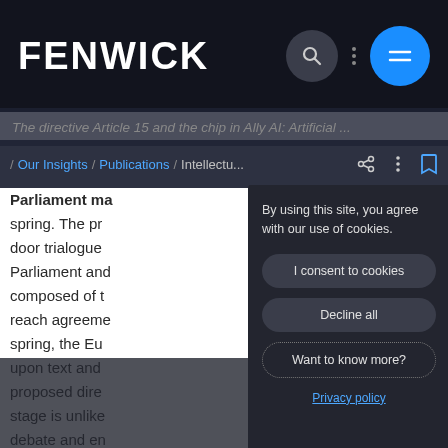FENWICK
/ Our Insights / Publications / Intellectu...
Parliament ma spring. The pr door trialogue Parliament and composed of t reach agreem spring, the Eu upon text and proposed dire stage is unlike debate and en
By using this site, you agree with our use of cookies.
I consent to cookies
Decline all
Want to know more?
Privacy policy